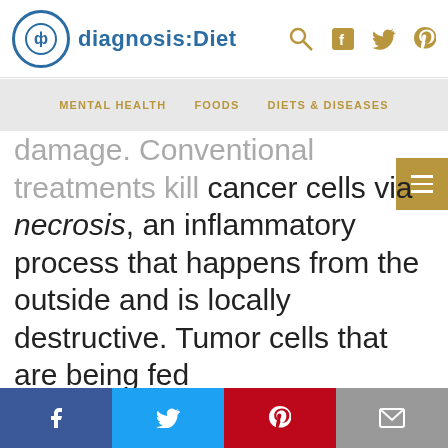diagnosis:Diet
MENTAL HEALTH  FOODS  DIETS & DISEASES
damage. Conventional treatments kill cancer cells via necrosis, an inflammatory process that happens from the outside and is locally destructive. Tumor cells that are being fed glucose/glutamine are resistant to apoptosis, but under ketogenic conditions, they become better able to undergo apoptosis again.
Facebook  Twitter  Pinterest  Email